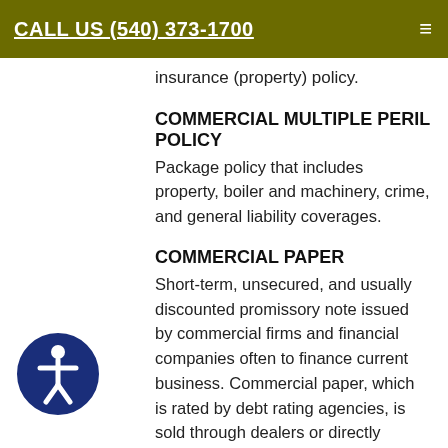CALL US (540) 373-1700
insurance (property) policy.
COMMERCIAL MULTIPLE PERIL POLICY
Package policy that includes property, boiler and machinery, crime, and general liability coverages.
COMMERCIAL PAPER
Short-term, unsecured, and usually discounted promissory note issued by commercial firms and financial companies often to finance current business. Commercial paper, which is rated by debt rating agencies, is sold through dealers or directly placed with an investor.
COMMISSION
Fee paid to an agent or insurance